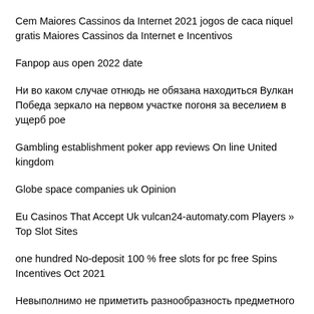Cem Maiores Cassinos da Internet 2021 jogos de caca niquel gratis Maiores Cassinos da Internet e Incentivos
Fanpop aus open 2022 date
Ни во каком случае отнюдь не обязана находиться Вулкан Победа зеркало на первом участке погоня за веселием в ущерб poe
Gambling establishment poker app reviews On line United kingdom
Globe space companies uk Opinion
Eu Casinos That Accept Uk vulcan24-automaty.com Players » Top Slot Sites
one hundred No-deposit 100 % free slots for pc free Spins Incentives Oct 2021
Невыполнимо не приметить разнообразность предметного